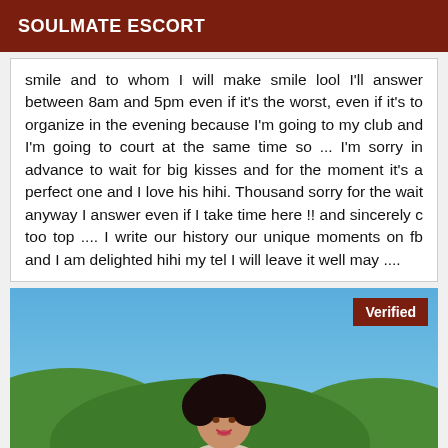SOULMATE ESCORT
smile and to whom I will make smile lool I'll answer between 8am and 5pm even if it's the worst, even if it's to organize in the evening because I'm going to my club and I'm going to court at the same time so ... I'm sorry in advance to wait for big kisses and for the moment it's a perfect one and I love his hihi. Thousand sorry for the wait anyway I answer even if I take time here !! and sincerely c too top .... I write our history our unique moments on fb and I am delighted hihi my tel I will leave it well may ....
[Figure (photo): Woman with curly dark hair outdoors with green hills and blue sky in background. A 'Verified' badge is shown in the top-right corner of the image.]